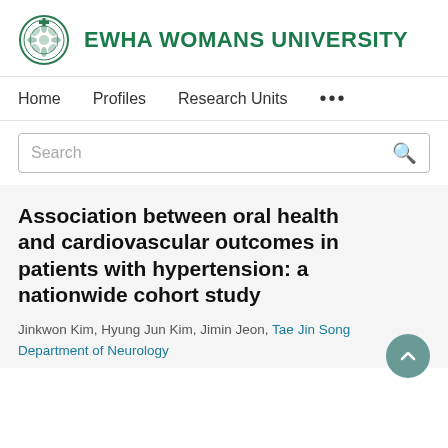[Figure (logo): Ewha Womans University circular logo with green border and cross symbol]
EWHA WOMANS UNIVERSITY
Home   Profiles   Research Units   ...
Search
Association between oral health and cardiovascular outcomes in patients with hypertension: a nationwide cohort study
Jinkwon Kim, Hyung Jun Kim, Jimin Jeon, Tae Jin Song
Department of Neurology